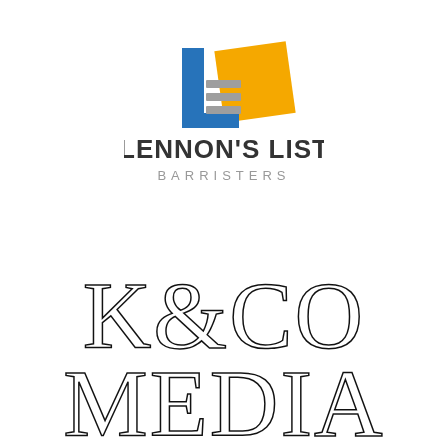[Figure (logo): Lennon's List Barristers logo: geometric L-shape icon in blue and yellow with gray horizontal stripes, above bold dark text 'LENNON'S LIST' and gray spaced text 'BARRISTERS']
[Figure (logo): K&CO MEDIA logo: large thin geometric sans-serif letters 'K&CO' on first line and 'MEDIA' on second line, in black thin stroke style]